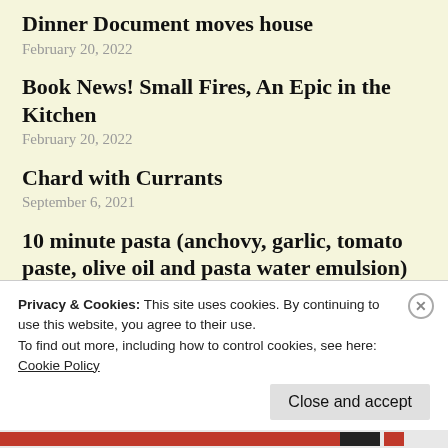Dinner Document moves house
February 20, 2022
Book News! Small Fires, An Epic in the Kitchen
February 20, 2022
Chard with Currants
September 6, 2021
10 minute pasta (anchovy, garlic, tomato paste, olive oil and pasta water emulsion)
July 8, 2021
Privacy & Cookies: This site uses cookies. By continuing to use this website, you agree to their use.
To find out more, including how to control cookies, see here: Cookie Policy
Close and accept